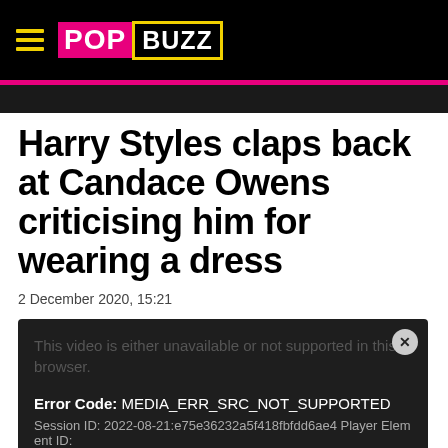POPBUZZ
Harry Styles claps back at Candace Owens criticising him for wearing a dress
2 December 2020, 15:21
[Figure (screenshot): Video player showing error: 'This video is either unavailable or not supported in this browser.' Error Code: MEDIA_ERR_SRC_NOT_SUPPORTED. Session ID: 2022-08-21:e75e36232a5f418fbfdd6ae4 Player Element ID:]